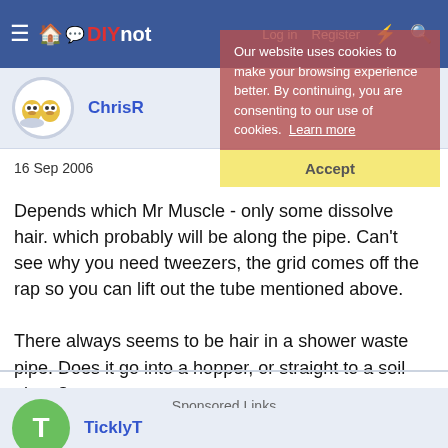DIYnot | Log in | Register
Our website uses cookies to make your browsing experience better. By continuing, you are consenting to our use of cookies. Learn more
Accept
ChrisR
16 Sep 2006
#4
Depends which Mr Muscle - only some dissolve hair. which probably will be along the pipe. Can't see why you need tweezers, the grid comes off the rap so you can lift out the tube mentioned above.

There always seems to be hair in a shower waste pipe. Does it go into a hopper, or straight to a soil pipe, ?
Sponsored Links
TicklyT